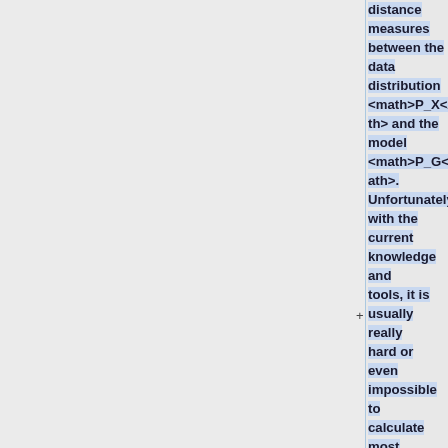distance measures between the data distribution <math>P_X</math> and the model <math>P_G</math>. Unfortunately, with the current knowledge and tools, it is usually really hard or even impossible to calculate most of the standard discrepancy measures especially when <math>P_X</math>